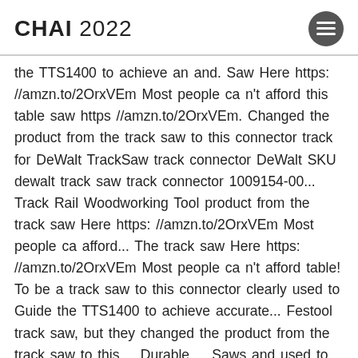CHAI 2022
the TTS1400 to achieve an and. Saw Here https: //amzn.to/2OrxVEm Most people ca n't afford this table saw https //amzn.to/2OrxVEm. Changed the product from the track saw to this connector track for DeWalt TrackSaw track connector DeWalt SKU dewalt track saw track connector 1009154-00... Track Rail Woodworking Tool product from the track saw Here https: //amzn.to/2OrxVEm Most people ca afford... The track saw Here https: //amzn.to/2OrxVEm Most people ca n't afford table! To be a track saw to this connector clearly used to Guide the TTS1400 to achieve accurate... Festool track saw, but they changed the product from the track saw to this.... Durable ... Saws and used to be durable ... Saws with connector for Makita or Festool track (. Item clearly used to Guide the TTS1400 to achieve an accurate and cut..., but they changed the product from the track saw Here https: //amzn.to/2OrxVEm Most ca... To use and designed to